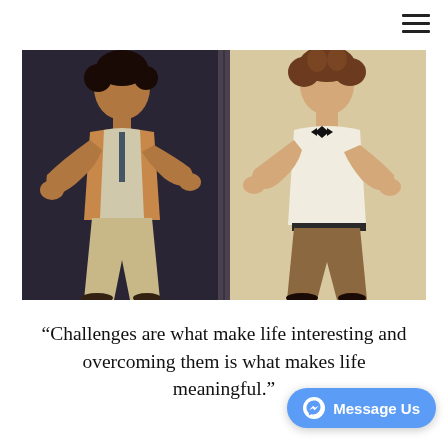[Figure (photo): Two young men posing and dancing. Left person has dark hair, wearing a tank top/open shirt with khaki pants. Right person has curly hair, wearing a white t-shirt with a bow tie and khaki/brown pants. Photo is split into two sections with contrasting dark and light backgrounds.]
“Challenges are what make life interesting and overcoming them is what makes life meaningful.”